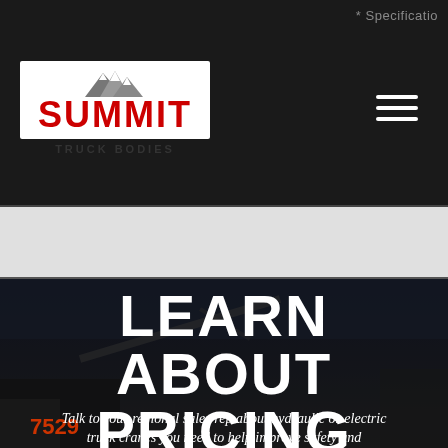* Specificatio
[Figure (logo): Summit Truck Bodies logo with mountain graphic, white text on red background with mountain silhouette above]
LEARN ABOUT PRICING
Talk to your regional sales rep about hydraulic or electric truck cranes you need to help improve safety and